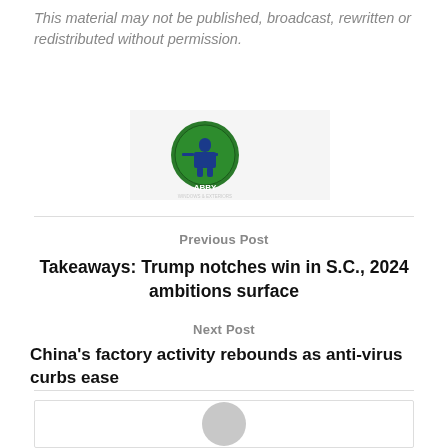This material may not be published, broadcast, rewritten or redistributed without permission.
[Figure (logo): Abby Windows & Exteriors logo — circular green badge with figure holding poles, text ABBY below, on light gray background]
Previous Post
Takeaways: Trump notches win in S.C., 2024 ambitions surface
Next Post
China's factory activity rebounds as anti-virus curbs ease
[Figure (illustration): Comment section box with gray avatar circle placeholder]